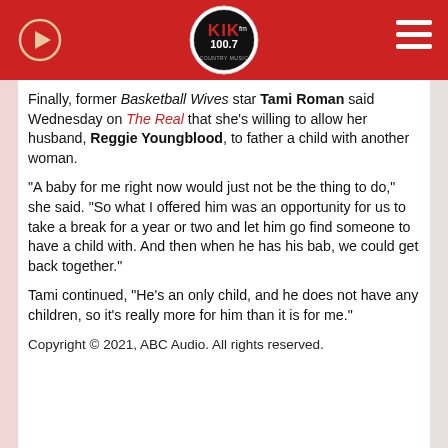[Figure (logo): KIK fm 100.7 radio station logo in circular badge, red header bar with play button on left and hamburger menu on right]
Finally, former Basketball Wives star Tami Roman said Wednesday on The Real that she's willing to allow her husband, Reggie Youngblood, to father a child with another woman.
"A baby for me right now would just not be the thing to do," she said. "So what I offered him was an opportunity for us to take a break for a year or two and let him go find someone to have a child with. And then when he has his bab, we could get back together."
Tami continued, "He's an only child, and he does not have any children, so it's really more for him than it is for me."
Copyright © 2021, ABC Audio. All rights reserved.